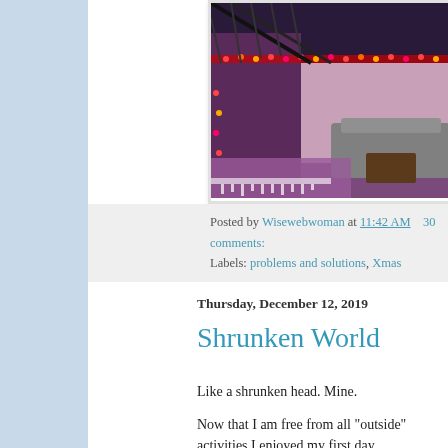[Figure (photo): Overhead view of a living room decorated for Christmas with colorful lights along the edges, a Christmas tree with lights, sofas and chairs, viewed from above at an angle]
Posted by Wisewebwoman at 11:42 AM   30 comments:
Labels: problems and solutions, Xmas
Thursday, December 12, 2019
Shrunken World
Like a shrunken head. Mine.
Now that I am free from all "outside" activities I enjoyed my first day proceeded to reorganize my office, which some of you may recall is a